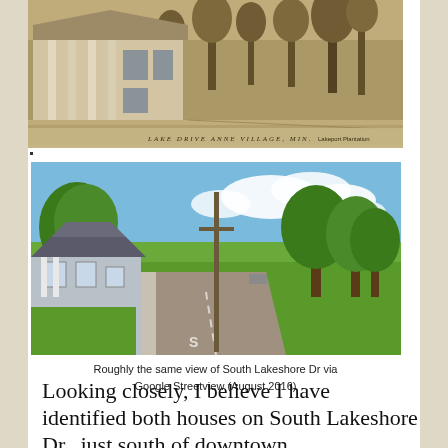[Figure (photo): Sepia-toned historical photograph of Lake Drive, Anne Village showing a large house with columns on the left and a tree-lined road extending into the distance. Caption at bottom reads 'LAKE DRIVE ANNE VILLAGE, MIN.' with credit 'Lakeport Plantation']
[Figure (photo): Color Google Streetview photograph of South Lakeshore Dr showing a suburban road with a house on the left, large trees, green lawns, and a utility pole. The road stretches into the distance.]
Roughly the same view of South Lakeshore Dr via Google Streetview (August 2016)
Looking closely, I believe I have identified both houses on South Lakeshore Dr., just south of downtown.